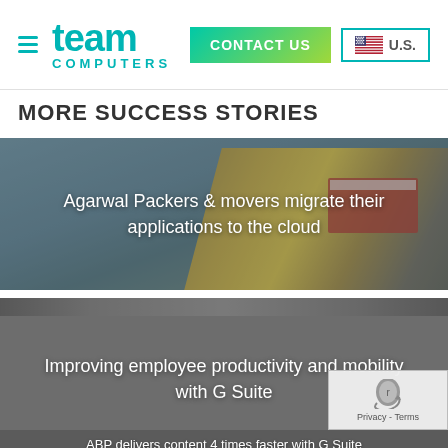team COMPUTERS — CONTACT US — U.S.
MORE SUCCESS STORIES
[Figure (photo): Banner image with shipping containers in background. Text overlay: Agarwal Packers & movers migrate their applications to the cloud]
Agarwal Packers & movers migrate their applications to the cloud
[Figure (photo): Grey/dark banner image. Text overlay: Improving employee productivity and mobility with G Suite]
Improving employee productivity and mobility with G Suite
[Figure (photo): Dark banner image partially visible at bottom. Text overlay (partially cut off): ABP delivers content 4 times faster with G Suite]